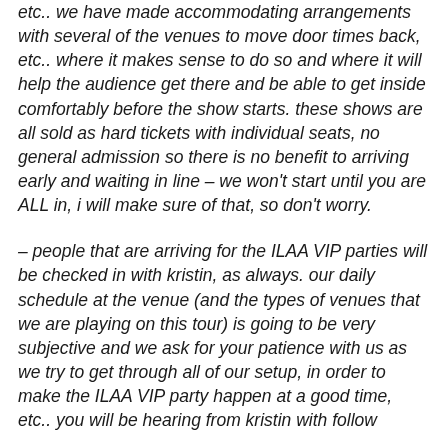etc.. we have made accommodating arrangements with several of the venues to move door times back, etc.. where it makes sense to do so and where it will help the audience get there and be able to get inside comfortably before the show starts. these shows are all sold as hard tickets with individual seats, no general admission so there is no benefit to arriving early and waiting in line – we won't start until you are ALL in, i will make sure of that, so don't worry.
– people that are arriving for the ILAA VIP parties will be checked in with kristin, as always. our daily schedule at the venue (and the types of venues that we are playing on this tour) is going to be very subjective and we ask for your patience with us as we try to get through all of our setup, in order to make the ILAA VIP party happen at a good time, etc.. you will be hearing from kristin with follow